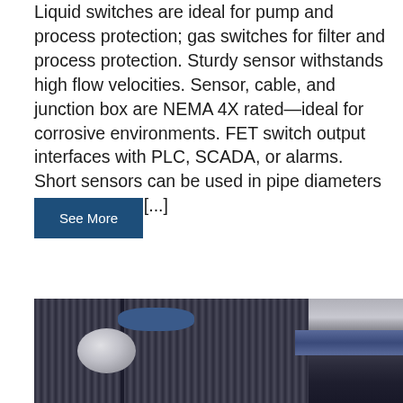Liquid switches are ideal for pump and process protection; gas switches for filter and process protection. Sturdy sensor withstands high flow velocities. Sensor, cable, and junction box are NEMA 4X rated—ideal for corrosive environments. FET switch output interfaces with PLC, SCADA, or alarms. Short sensors can be used in pipe diameters from 3/4" to 1 [...]
See More
[Figure (photo): Close-up photo of a dark blue/black industrial flow sensor or switch device showing ridged housing, a circular grey oval button or sensor face, and a cable extending to the right]